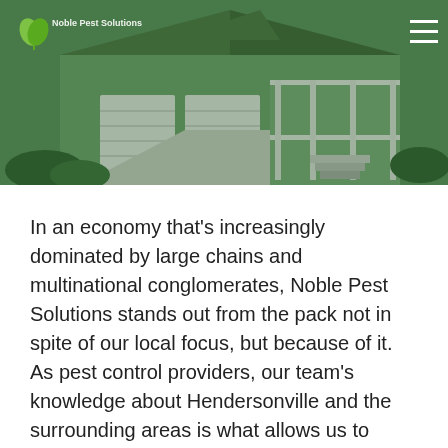[Figure (photo): Hero image of a large suburban house with green siding, white garage doors, front porch, and landscaped driveway. Green overlay tint applied. Noble Pest Solutions logo and hamburger menu visible in top corners.]
In an economy that's increasingly dominated by large chains and multinational conglomerates, Noble Pest Solutions stands out from the pack not in spite of our local focus, but because of it. As pest control providers, our team's knowledge about Hendersonville and the surrounding areas is what allows us to thrive by providing the homes and businesses we serve with pest control solutions that